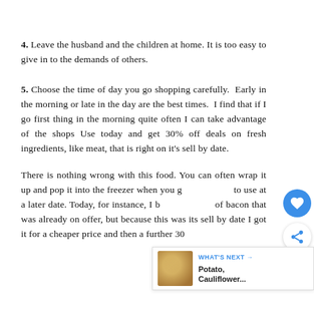4. Leave the husband and the children at home. It is too easy to give in to the demands of others.
5. Choose the time of day you go shopping carefully. Early in the morning or late in the day are the best times. I find that if I go first thing in the morning quite often I can take advantage of the shops Use today and get 30% off deals on fresh ingredients, like meat, that is right on it's sell by date.
There is nothing wrong with this food. You can often wrap it up and pop it into the freezer when you go to use at a later date. Today, for instance, I bo of bacon that was already on offer, but because this was its sell by date I got it for a cheaper price and then a further 30
[Figure (infographic): WHAT'S NEXT arrow label with thumbnail image of Potato, Cauliflower... recipe card overlay in bottom right corner]